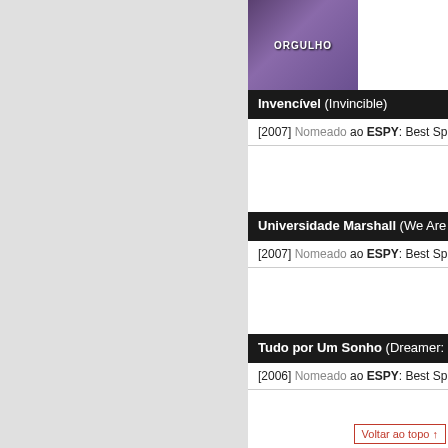[Figure (photo): Movie cover image for Orgulho (sports film), showing people in athletic uniforms with purple/dark tones]
Invencível (Invincible)
[2007] Nomeado ao ESPY: Best Sports Movie
Universidade Marshall (We Are Marshall)
[2007] Nomeado ao ESPY: Best Sports Movie
Tudo por Um Sonho (Dreamer: Inspired by a True Story)
[2006] Nomeado ao ESPY: Best Sports Movie
Million Dollar Baby - Sonhos Vencidos (Million Dollar Baby)
[2005] Nomeado ao ESPY: Best Sports Movie
Voltar ao topo ↑